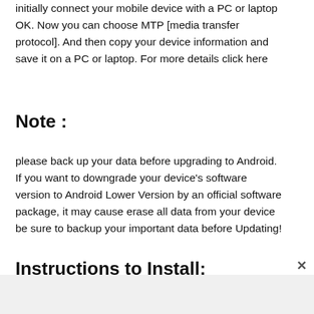initially connect your mobile device with a PC or laptop OK. Now you can choose MTP [media transfer protocol]. And then copy your device information and save it on a PC or laptop. For more details click here
Note :
please back up your data before upgrading to Android. If you want to downgrade your device’s software version to Android Lower Version by an official software package, it may cause erase all data from your device be sure to backup your important data before Updating!
Instructions to Install: